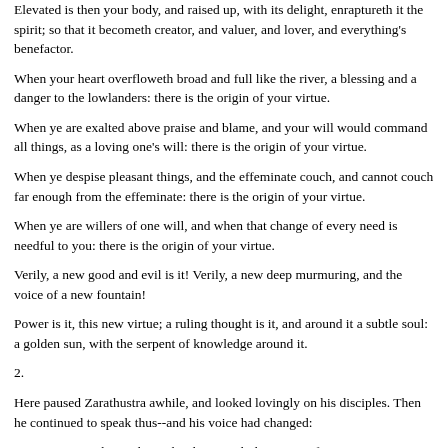Elevated is then your body, and raised up, with its delight, enraptureth it the spirit; so that it becometh creator, and valuer, and lover, and everything's benefactor.
When your heart overfloweth broad and full like the river, a blessing and a danger to the lowlanders: there is the origin of your virtue.
When ye are exalted above praise and blame, and your will would command all things, as a loving one's will: there is the origin of your virtue.
When ye despise pleasant things, and the effeminate couch, and cannot couch far enough from the effeminate: there is the origin of your virtue.
When ye are willers of one will, and when that change of every need is needful to you: there is the origin of your virtue.
Verily, a new good and evil is it! Verily, a new deep murmuring, and the voice of a new fountain!
Power is it, this new virtue; a ruling thought is it, and around it a subtle soul: a golden sun, with the serpent of knowledge around it.
2.
Here paused Zarathustra awhile, and looked lovingly on his disciples. Then he continued to speak thus--and his voice had changed:
Remain true to the earth, my brethren, with the power of your virtue! Let your bestowing love and your knowledge be devoted to be the meaning of the earth! Thus do I pray and conjure you.
Let it not fly away from the earthly and beat against eternal walls with its